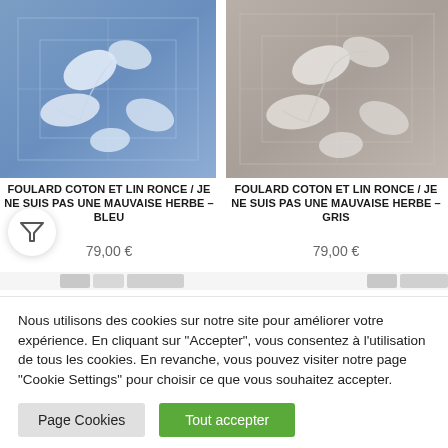[Figure (photo): Blue cotton and linen scarf with white floral/leaf pattern on fabric]
FOULARD COTON ET LIN RONCE / JE NE SUIS PAS UNE MAUVAISE HERBE – BLEU
79,00 €
[Figure (photo): Grey/taupe cotton and linen scarf with white floral/leaf pattern on fabric]
FOULARD COTON ET LIN RONCE / JE NE SUIS PAS UNE MAUVAISE HERBE – GRIS
79,00 €
Nous utilisons des cookies sur notre site pour améliorer votre expérience. En cliquant sur "Accepter", vous consentez à l'utilisation de tous les cookies. En revanche, vous pouvez visiter notre page "Cookie Settings" pour choisir ce que vous souhaitez accepter.
Page Cookies
Tout accepter